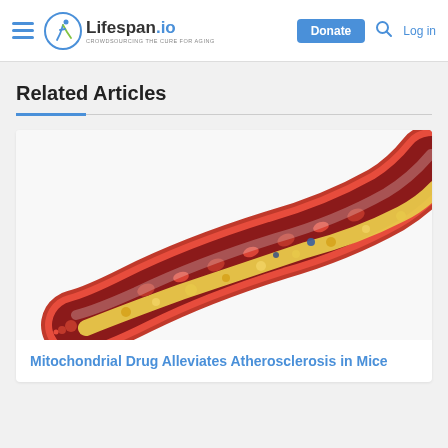Lifespan.io — Donate | Log in
Related Articles
[Figure (illustration): Medical illustration of a cross-sectioned artery showing atherosclerotic plaque (yellow deposits) and red blood cells inside a curved red blood vessel]
Mitochondrial Drug Alleviates Atherosclerosis in Mice